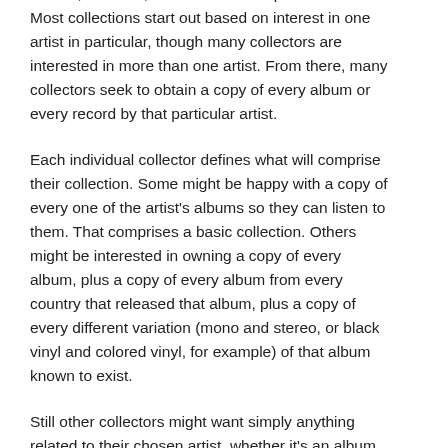reason, however, is an interest in a particular artist. Most collections start out based on interest in one artist in particular, though many collectors are interested in more than one artist. From there, many collectors seek to obtain a copy of every album or every record by that particular artist.
Each individual collector defines what will comprise their collection. Some might be happy with a copy of every one of the artist's albums so they can listen to them. That comprises a basic collection. Others might be interested in owning a copy of every album, plus a copy of every album from every country that released that album, plus a copy of every different variation (mono and stereo, or black vinyl and colored vinyl, for example) of that album known to exist.
Still other collectors might want simply anything related to their chosen artist, whether it's an album, a single, an 8 track tape, a magazine, a gold record